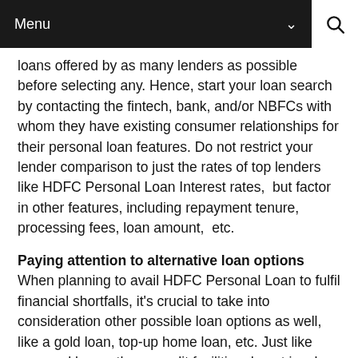Menu
loans offered by as many lenders as possible before selecting any. Hence, start your loan search by contacting the fintech, bank, and/or NBFCs with whom they have existing consumer relationships for their personal loan features. Do not restrict your lender comparison to just the rates of top lenders like HDFC Personal Loan Interest rates,  but factor in other features, including repayment tenure, processing fees, loan amount,  etc.
Paying attention to alternative loan options
When planning to avail HDFC Personal Loan to fulfil financial shortfalls, it's crucial to take into consideration other possible loan options as well, like a gold loan, top-up home loan, etc. Just like personal loans, these credit facilities do not involve any end-usage restrictions. Even when comparing with HDFC Personal Loan Interest rates, some of these alternative credit options of HDFC Bank and other lenders usually involve